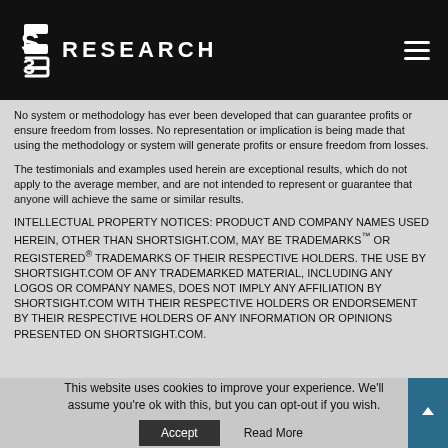S3 RESEARCH
No system or methodology has ever been developed that can guarantee profits or ensure freedom from losses. No representation or implication is being made that using the methodology or system will generate profits or ensure freedom from losses.
The testimonials and examples used herein are exceptional results, which do not apply to the average member, and are not intended to represent or guarantee that anyone will achieve the same or similar results.
INTELLECTUAL PROPERTY NOTICES: PRODUCT AND COMPANY NAMES USED HEREIN, OTHER THAN SHORTSIGHT.COM, MAY BE TRADEMARKS™ OR REGISTERED® TRADEMARKS OF THEIR RESPECTIVE HOLDERS. THE USE BY SHORTSIGHT.COM OF ANY TRADEMARKED MATERIAL, INCLUDING ANY LOGOS OR COMPANY NAMES, DOES NOT IMPLY ANY AFFILIATION BY SHORTSIGHT.COM WITH THEIR RESPECTIVE HOLDERS OR ENDORSEMENT BY THEIR RESPECTIVE HOLDERS OF ANY INFORMATION OR OPINIONS PRESENTED ON SHORTSIGHT.COM.
This website uses cookies to improve your experience. We'll assume you're ok with this, but you can opt-out if you wish.